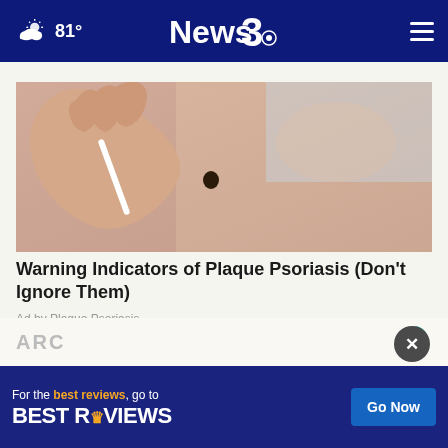81° News3
[Figure (photo): Close-up of a hand holding a thin white tool (pen or stylus) near a dark mole or skin spot on light skin]
Warning Indicators of Plaque Psoriasis (Don't Ignore Them)
Ad by Plaque Psoriasis
ARC
[Figure (logo): Outbrain logo - green and teal circular C shape]
For the best reviews, go to BESTREVIEWS
Go Now